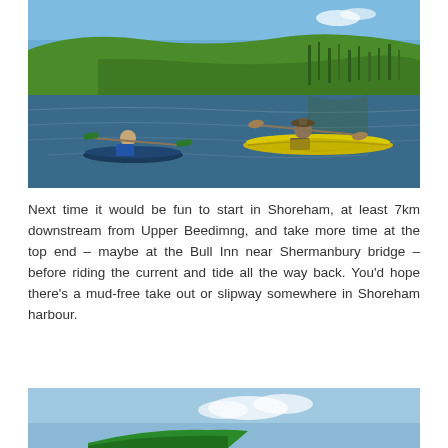[Figure (photo): Two kayakers paddling on a calm green river or marsh waterway. One person in a blue life vest in a dark kayak on the left, another person in a hat in a yellow kayak on the right. Green reeds and grass line the banks in the background under a blue sky.]
Next time it would be fun to start in Shoreham, at least 7km downstream from Upper Beedimng, and take more time at the top end – maybe at the Bull Inn near Shermanbury bridge – before riding the current and tide all the way back. You'd hope there's a mud-free take out or slipway somewhere in Shoreham harbour.
[Figure (photo): Partial view of a kayak with a green paddle under a blue sky with white clouds, cropped at the bottom of the page.]